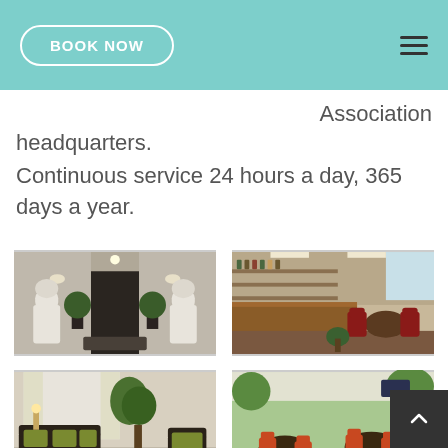BOOK NOW
Association headquarters.
Continuous service 24 hours a day, 365 days a year.
[Figure (photo): Hotel entrance lobby with two white lion statues flanking the doorway]
[Figure (photo): Hotel bar and lounge area with wooden counter and red chairs]
[Figure (photo): Hotel seating area with dark wicker furniture and green cushions]
[Figure (photo): Hotel outdoor terrace dining area with orange chairs and plants]